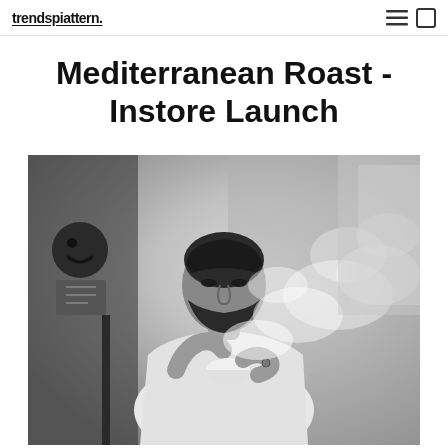trendspiattern.
Mediterranean Roast - Instore Launch
[Figure (photo): Black and white photograph of a bearded man wearing a white t-shirt and dark beanie/headband, leaning over and holding a small cup, with steam rising around him. In the background left is a cartoon character mascot/sign with a smile face.]